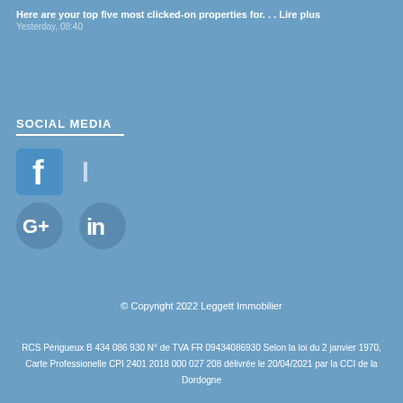Here are your top five most clicked-on properties for. . . Lire plus
Yesterday, 08:40
SOCIAL MEDIA
[Figure (illustration): Facebook icon (blue square with white 'f'), small icon next to it]
[Figure (illustration): Google+ circular icon and LinkedIn icon with 'in' text]
© Copyright 2022 Leggett Immobilier
RCS Périgueux B 434 086 930 N° de TVA FR 09434086930 Selon la loi du 2 janvier 1970, Carte Professionelle CPI 2401 2018 000 027 208 délivrée le 20/04/2021 par la CCI de la Dordogne